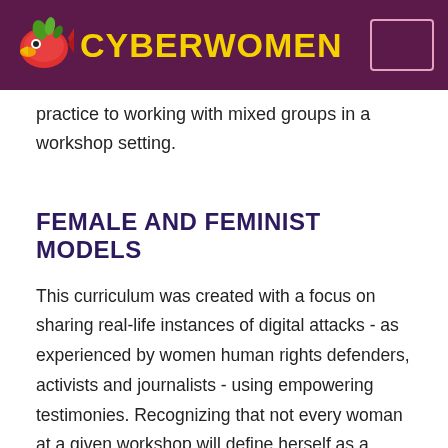CYBERWOMEN
practice to working with mixed groups in a workshop setting.
FEMALE AND FEMINIST MODELS
This curriculum was created with a focus on sharing real-life instances of digital attacks - as experienced by women human rights defenders, activists and journalists - using empowering testimonies. Recognizing that not every woman at a given workshop will define herself as a feminist, the curriculum's approach to the training process